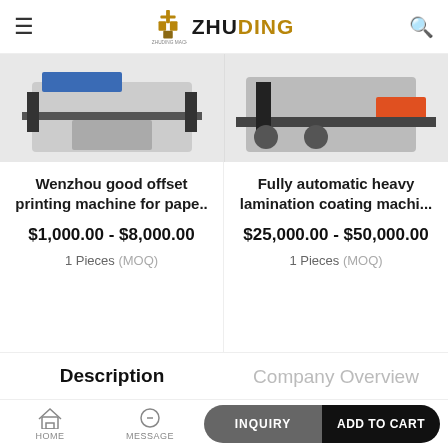ZHUDING
[Figure (photo): Partial view of two printing/lamination machines cropped at top]
Wenzhou good offset printing machine for pape..
$1,000.00 - $8,000.00
1 Pieces (MOQ)
Fully automatic heavy lamination coating machi...
$25,000.00 - $50,000.00
1 Pieces (MOQ)
Description
Company Overview
HOME   MESSAGE   INQUIRY   ADD TO CART